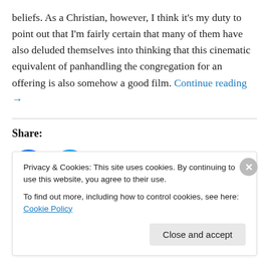beliefs. As a Christian, however, I think it's my duty to point out that I'm fairly certain that many of them have also deluded themselves into thinking that this cinematic equivalent of panhandling the congregation for an offering is also somehow a good film. Continue reading →
Share:
[Figure (illustration): Facebook and Twitter social share icons — two circular blue buttons with white Facebook 'f' and Twitter bird logos respectively]
Privacy & Cookies: This site uses cookies. By continuing to use this website, you agree to their use. To find out more, including how to control cookies, see here: Cookie Policy